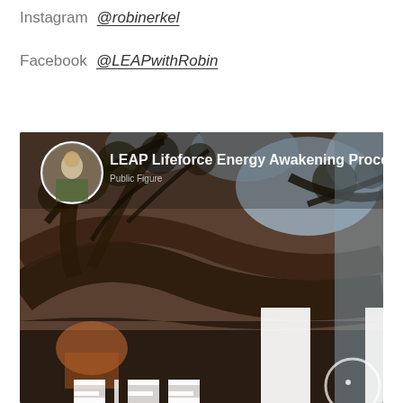Instagram  @robinerkel
Facebook  @LEAPwithRobin
[Figure (screenshot): Facebook page cover photo for 'LEAP Lifeforce Energy Awakening Process'. Shows a profile picture (circular avatar with person in nature) on the left, page name text 'LEAP Lifeforce Energy Awakening Process' in white on the right. Background is a photo of tree branches with bokeh sky. Lower portion shows large white 'L' letter logo partially visible, with additional LEAP logo letters at the bottom.]